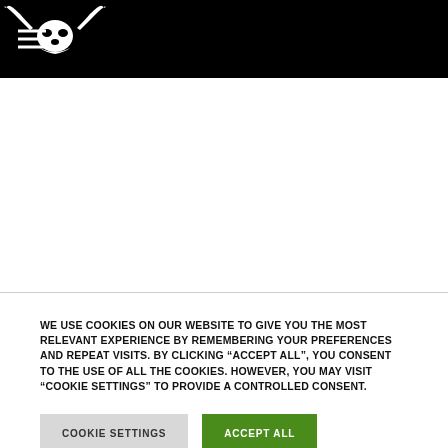[Navigation header with hamburger menu and longhorn skull logo on black background]
WE USE COOKIES ON OUR WEBSITE TO GIVE YOU THE MOST RELEVANT EXPERIENCE BY REMEMBERING YOUR PREFERENCES AND REPEAT VISITS. BY CLICKING “ACCEPT ALL”, YOU CONSENT TO THE USE OF ALL THE COOKIES. HOWEVER, YOU MAY VISIT "COOKIE SETTINGS" TO PROVIDE A CONTROLLED CONSENT.
COOKIE SETTINGS | ACCEPT ALL